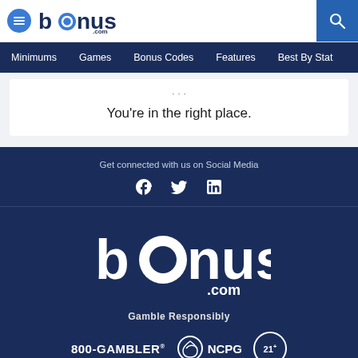bonus.com
Minimums | Games | Bonus Codes | Features | Best By Stat
You're in the right place.
Get connected with us on Social Media
[Figure (logo): bonus.com logo in white on dark blue background]
Gamble Responsibly
[Figure (logo): 800-GAMBLER, NCPG, and 21+ responsible gambling badges]